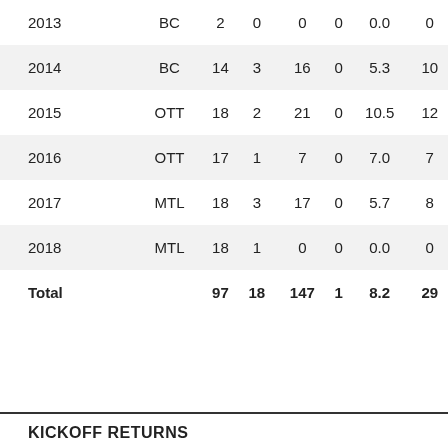| Year | Team | GP | REC | YDS | TD | AVG | LNG |
| --- | --- | --- | --- | --- | --- | --- | --- |
| 2013 | BC | 2 | 0 | 0 | 0 | 0.0 | 0 |
| 2014 | BC | 14 | 3 | 16 | 0 | 5.3 | 10 |
| 2015 | OTT | 18 | 2 | 21 | 0 | 10.5 | 12 |
| 2016 | OTT | 17 | 1 | 7 | 0 | 7.0 | 7 |
| 2017 | MTL | 18 | 3 | 17 | 0 | 5.7 | 8 |
| 2018 | MTL | 18 | 1 | 0 | 0 | 0.0 | 0 |
| Total |  | 97 | 18 | 147 | 1 | 8.2 | 29 |
KICKOFF RETURNS